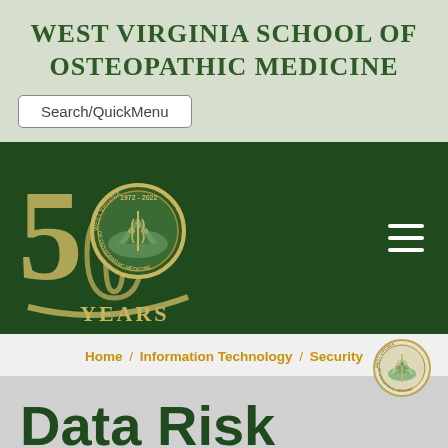West Virginia School of Osteopathic Medicine
[Figure (screenshot): Search/QuickMenu input box]
[Figure (logo): West Virginia School of Osteopathic Medicine 50 Years (1972-2022) anniversary logo on dark green background with hamburger menu icon]
Home / Information Technology / Security
[Figure (logo): West Virginia School of Osteopathic Medicine circular seal]
Data Risk